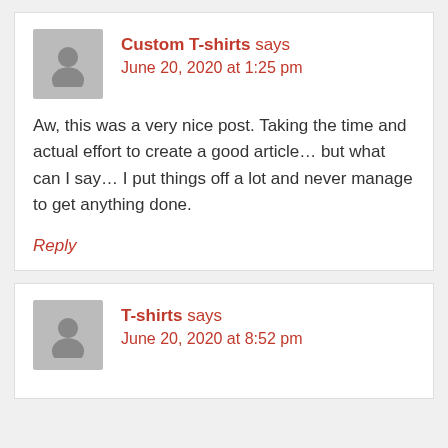Custom T-shirts says
June 20, 2020 at 1:25 pm
Aw, this was a very nice post. Taking the time and actual effort to create a good article… but what can I say… I put things off a lot and never manage to get anything done.
Reply
T-shirts says
June 20, 2020 at 8:52 pm